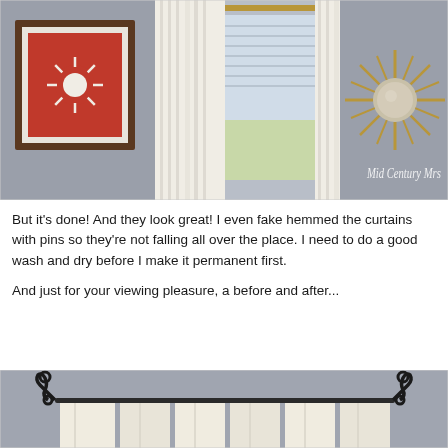[Figure (photo): Interior room photo showing white curtains on a window with horizontal blinds, a framed red mid-century art print on the left wall, and a gold starburst sunburst mirror on the right wall. Watermark reads 'Mid Century Mrs'.]
But it's done! And they look great! I even fake hemmed the curtains with pins so they're not falling all over the place. I need to do a good wash and dry before I make it permanent first.
And just for your viewing pleasure, a before and after...
[Figure (photo): Before photo showing curtains hanging on a dark curtain rod with decorative scrollwork brackets against a gray wall.]